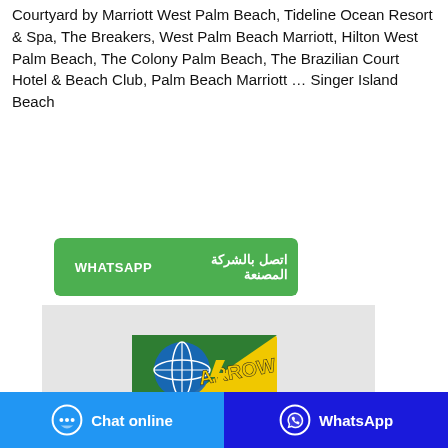Courtyard by Marriott West Palm Beach, Tideline Ocean Resort & Spa, The Breakers, West Palm Beach Marriott, Hilton West Palm Beach, The Colony Palm Beach, The Brazilian Court Hotel & Beach Club, Palm Beach Marriott … Singer Island Beach
[Figure (other): Two green buttons side by side: 'WHATSAPP' and Arabic text 'اتصل بالشركة المصنعة']
[Figure (photo): Photo of Arrow Anti-Flea Coil mosquito repellent product box, yellow and green packaging with a mosquito coil spiral]
[Figure (other): Footer bar with two buttons: 'Chat online' (blue, with chat bubble icon) and 'WhatsApp' (dark blue, with WhatsApp icon)]